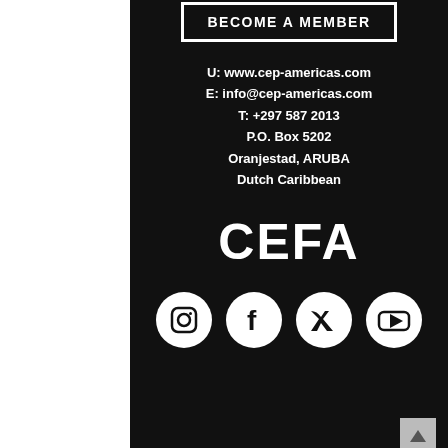BECOME A MEMBER
U: www.cep-americas.com
E: info@cep-americas.com
T: +297 587 2013
P.O. Box 5202
Oranjestad, ARUBA
Dutch Caribbean
CEFA
[Figure (infographic): Social media icons: Instagram, Facebook, Twitter, YouTube]
© 2016-2022 Americas Sustainable Development Foundation
The Circular Economy Platform was co-founded in 2016 by the Americas Sustainable Development Foundation (ASDF) as part of its broader ambition to facilitating the transition toward Circular Economy in the Americas.
Disclaimer
Cradle to Cradle® is a registered trademark of McDonough Braungart Design Chemistry, LLC (MBDC). All rights reserved